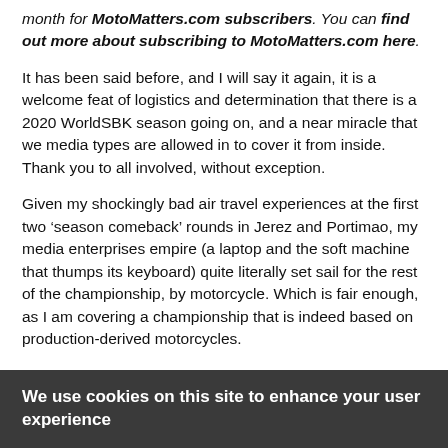month for MotoMatters.com subscribers. You can find out more about subscribing to MotoMatters.com here.
It has been said before, and I will say it again, it is a welcome feat of logistics and determination that there is a 2020 WorldSBK season going on, and a near miracle that we media types are allowed in to cover it from inside. Thank you to all involved, without exception.
Given my shockingly bad air travel experiences at the first two ‘season comeback’ rounds in Jerez and Portimao, my media enterprises empire (a laptop and the soft machine that thumps its keyboard) quite literally set sail for the rest of the championship, by motorcycle. Which is fair enough, as I am covering a championship that is indeed based on production-derived motorcycles.
We use cookies on this site to enhance your user experience